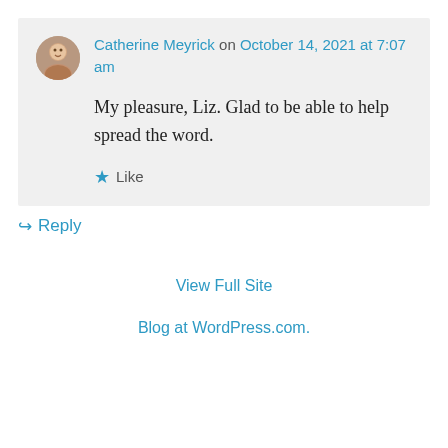Catherine Meyrick on October 14, 2021 at 7:07 am
My pleasure, Liz. Glad to be able to help spread the word.
★ Like
↳ Reply
View Full Site
Blog at WordPress.com.